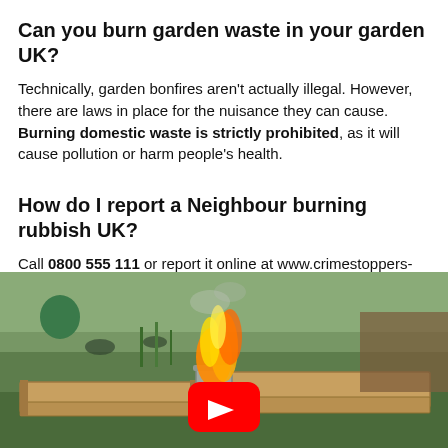Can you burn garden waste in your garden UK?
Technically, garden bonfires aren’t actually illegal. However, there are laws in place for the nuisance they can cause. Burning domestic waste is strictly prohibited, as it will cause pollution or harm people’s health.
How do I report a Neighbour burning rubbish UK?
Call 0800 555 111 or report it online at www.crimestoppers-org.uk.
[Figure (photo): Video thumbnail showing a garden bonfire with flames coming from a metal bin, surrounded by raised wooden garden beds. A red YouTube play button is overlaid in the center.]